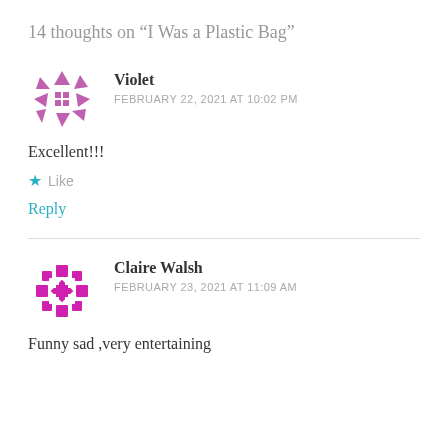14 thoughts on “I Was a Plastic Bag”
[Figure (illustration): Purple geometric avatar icon for user Violet]
Violet
FEBRUARY 22, 2021 AT 10:02 PM
Excellent!!!
★ Like
Reply
[Figure (illustration): Magenta/pink geometric avatar icon for user Claire Walsh]
Claire Walsh
FEBRUARY 23, 2021 AT 11:09 AM
Funny sad ,very entertaining